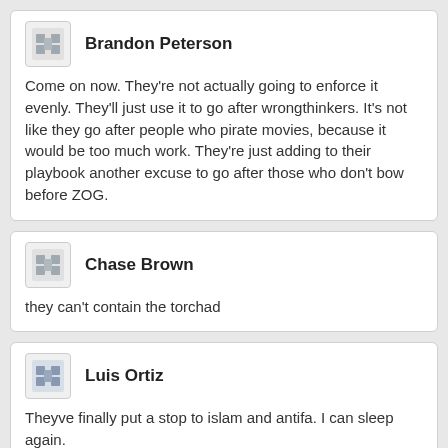[Figure (other): Avatar icon for Brandon Peterson]
Brandon Peterson
Come on now. They're not actually going to enforce it evenly. They'll just use it to go after wrongthinkers. It's not like they go after people who pirate movies, because it would be too much work. They're just adding to their playbook another excuse to go after those who don't bow before ZOG.
[Figure (other): Avatar icon for Chase Brown]
Chase Brown
they can't contain the torchad
[Figure (other): Avatar icon for Luis Ortiz]
Luis Ortiz
Theyve finally put a stop to islam and antifa. I can sleep again.
Attached: 512x512bb.jpg (512x512, 48.1K)